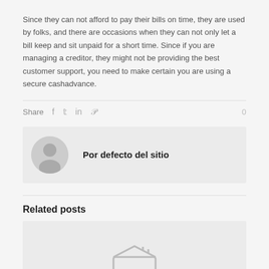Since they can not afford to pay their bills on time, they are used by folks, and there are occasions when they can not only let a bill keep and sit unpaid for a short time. Since if you are managing a creditor, they might not be providing the best customer support, you need to make certain you are using a secure cashadvance.
Share  f  t  in  P  0
[Figure (illustration): Author avatar: circular gray silhouette icon with person outline]
Por defecto del sitio
Related posts
[Figure (illustration): Placeholder image with gray house/image icon at the bottom]